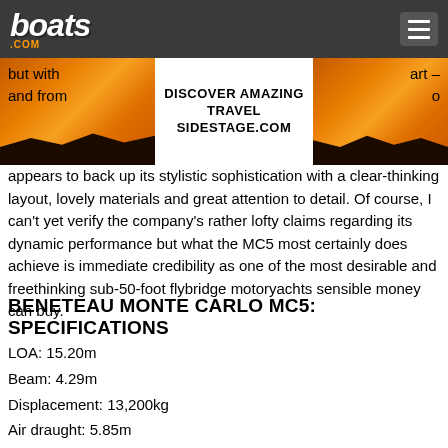boats.com
[Figure (photo): Advertisement banner with two sunset landscape photos flanking a white center panel reading 'DISCOVER AMAZING TRAVEL SIDESTAGE.COM'. Text fragments 'but with' and 'and from' visible on left; 'art –' and 'o' visible on right.]
appears to back up its stylistic sophistication with a clear-thinking layout, lovely materials and great attention to detail. Of course, I can't yet verify the company's rather lofty claims regarding its dynamic performance but what the MC5 most certainly does achieve is immediate credibility as one of the most desirable and freethinking sub-50-foot flybridge motoryachts sensible money can buy.
BENETEAU MONTE CARLO MC5: SPECIFICATIONS
LOA: 15.20m
Beam: 4.29m
Displacement: 13,200kg
Air draught: 5.85m
Draught: 0.91m
Fuel capacity: 2 x 650 litres